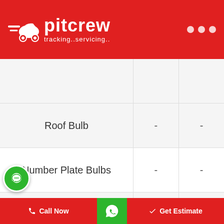[Figure (logo): Pitcrew logo with car icon and tagline 'tracking..servicing..' on red header background]
|  |  |  |
| --- | --- | --- |
| Roof Bulb | - | - |
| Number Plate Bulbs | - | - |
| Odometer | - | - |
| Horn | - | - |
| Wipers Blades | - | - |
| Wiper Water Spray Nozzle |  |  |